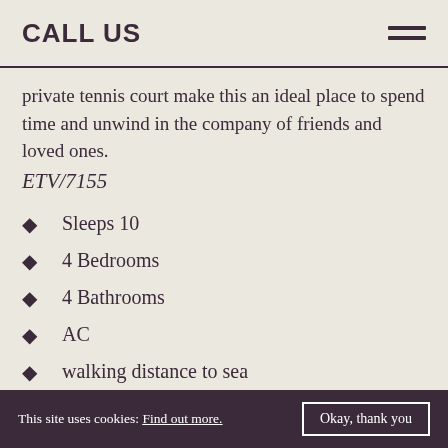CALL US
private tennis court make this an ideal place to spend time and unwind in the company of friends and loved ones.
ETV/7155
Sleeps 10
4 Bedrooms
4 Bathrooms
AC
walking distance to sea
This site uses cookies: Find out more. Okay, thank you